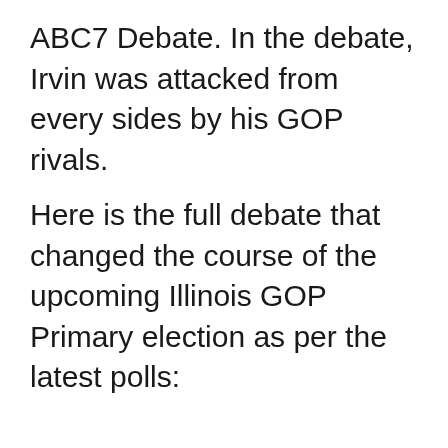ABC7 Debate. In the debate, Irvin was attacked from every sides by his GOP rivals.
Here is the full debate that changed the course of the upcoming Illinois GOP Primary election as per the latest polls: